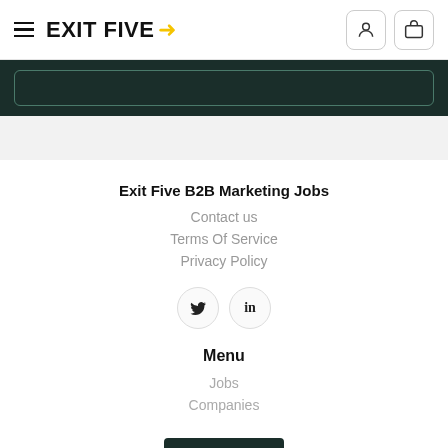EXIT FIVE →
Exit Five B2B Marketing Jobs
Contact us
Terms Of Service
Privacy Policy
Menu
Jobs
Companies